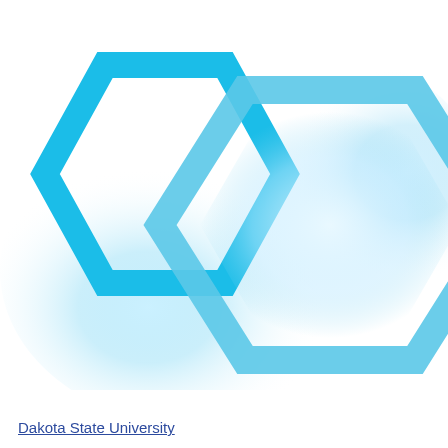[Figure (logo): Dakota State University logo: two cyan/teal hexagon outlines (one smaller upper-left, one larger upper-right) with glowing blue radial light effects behind them on a white background.]
Dakota State University